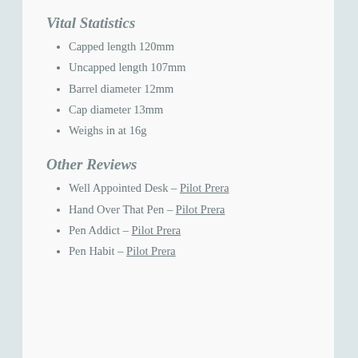Vital Statistics
Capped length 120mm
Uncapped length 107mm
Barrel diameter 12mm
Cap diameter 13mm
Weighs in at 16g
Other Reviews
Well Appointed Desk – Pilot Prera
Hand Over That Pen – Pilot Prera
Pen Addict – Pilot Prera
Pen Habit – Pilot Prera